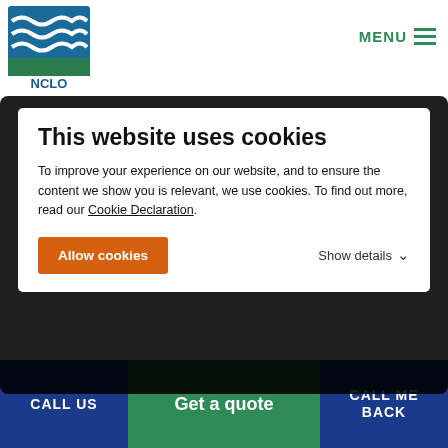[Figure (logo): NCLO company logo with stylized wave/water design in blue and green]
MENU
This website uses cookies
To improve your experience on our website, and to ensure the content we show you is relevant, we use cookies. To find out more, read our Cookie Declaration.
Allow cookies
Show details
Baggage Shipping
International Removals
CALL US
Get a quote
CALL ME BACK